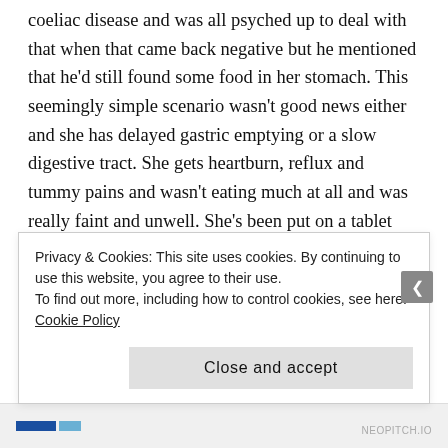coeliac disease and was all psyched up to deal with that when that came back negative but he mentioned that he'd still found some food in her stomach. This seemingly simple scenario wasn't good news either and she has delayed gastric emptying or a slow digestive tract. She gets heartburn, reflux and tummy pains and wasn't eating much at all and was really faint and unwell. She's been put on a tablet and the chemist put me onto a meal replacement drink and she's gained some weight. Not a magic bullet but much better. In terms of food my kids struggle with, mushrooms
Privacy & Cookies: This site uses cookies. By continuing to use this website, you agree to their use. To find out more, including how to control cookies, see here: Cookie Policy
Close and accept